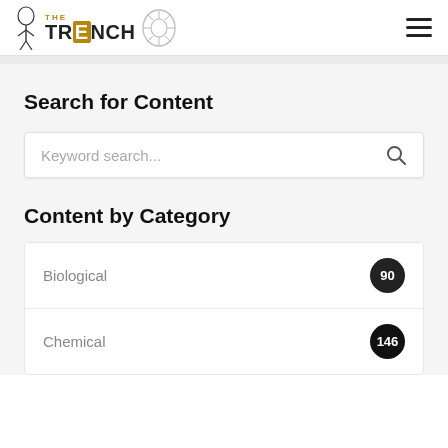THE TRENCH
Search for Content
Keyword search...
Content by Category
Biological 90
Chemical 146